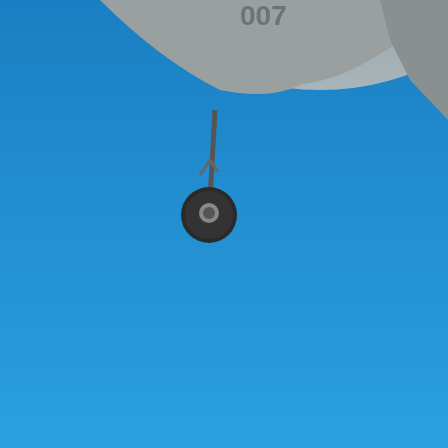[Figure (photo): Close-up photograph of an aircraft (military jet, numbered 007) viewed from below against a bright blue sky, showing the underside of the fuselage with landing gear. The image fills approximately the top two-thirds of the page. An ASO (Aviation Spotters Online) watermark logo with propeller graphic is overlaid in the lower portion of the photo, with italic red text 'Photo: Dave Sandstrom' below. Below a thin white divider strip is a solid blue rectangle containing a second, larger ASO (Aviation Spotters Online) logo with propeller graphic and subtitle text.]